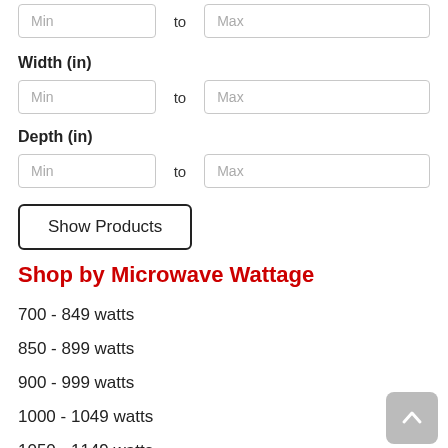Min to Max (top row)
Width (in)
Min to Max (width row)
Depth (in)
Min to Max (depth row)
Show Products
Shop by Microwave Wattage
700 - 849 watts
850 - 899 watts
900 - 999 watts
1000 - 1049 watts
1050 - 1149 watts